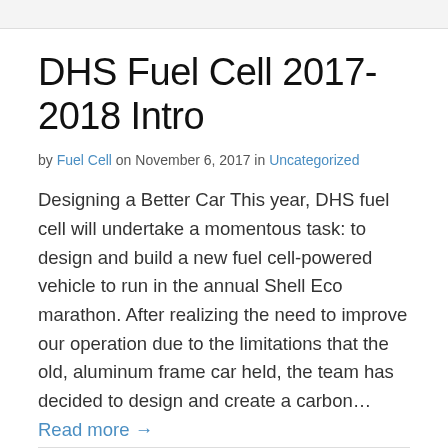DHS Fuel Cell 2017-2018 Intro
by Fuel Cell on November 6, 2017 in Uncategorized
Designing a Better Car This year, DHS fuel cell will undertake a momentous task: to design and build a new fuel cell-powered vehicle to run in the annual Shell Eco marathon. After realizing the need to improve our operation due to the limitations that the old, aluminum frame car held, the team has decided to design and create a carbon... Read more →